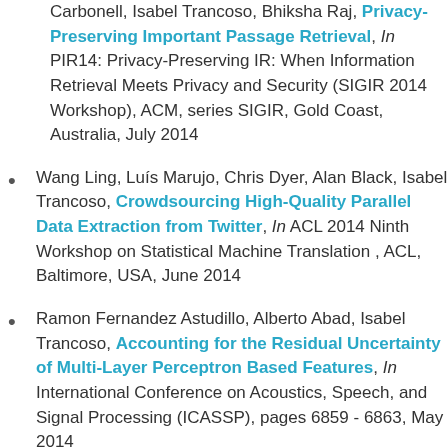Carbonell, Isabel Trancoso, Bhiksha Raj, Privacy-Preserving Important Passage Retrieval, In PIR14: Privacy-Preserving IR: When Information Retrieval Meets Privacy and Security (SIGIR 2014 Workshop), ACM, series SIGIR, Gold Coast, Australia, July 2014
Wang Ling, Luís Marujo, Chris Dyer, Alan Black, Isabel Trancoso, Crowdsourcing High-Quality Parallel Data Extraction from Twitter, In ACL 2014 Ninth Workshop on Statistical Machine Translation , ACL, Baltimore, USA, June 2014
Ramon Fernandez Astudillo, Alberto Abad, Isabel Trancoso, Accounting for the Residual Uncertainty of Multi-Layer Perceptron Based Features, In International Conference on Acoustics, Speech, and Signal Processing (ICASSP), pages 6859 - 6863, May 2014
Helena Moniz, Ana Isabel Mata da Silva, Julia